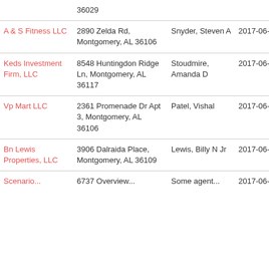| Business Name | Address | Agent | Date |
| --- | --- | --- | --- |
|  | 36029 |  |  |
| A & S Fitness LLC | 2890 Zelda Rd, Montgomery, AL 36106 | Snyder, Steven A | 2017-06-06 |
| Keds Investment Firm, LLC | 8548 Huntingdon Ridge Ln, Montgomery, AL 36117 | Stoudmire, Amanda D | 2017-06-06 |
| Vp Mart LLC | 2361 Promenade Dr Apt 3, Montgomery, AL 36106 | Patel, Vishal | 2017-06-06 |
| Bn Lewis Properties, LLC | 3906 Dalraida Place, Montgomery, AL 36109 | Lewis, Billy N Jr | 2017-06-06 |
| Scenario... | 6737 Overview... | Some agent... | 2017-06-... |